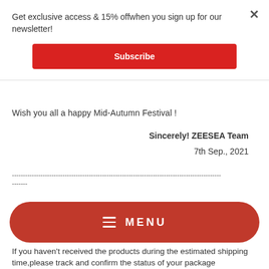Get exclusive access & 15% offwhen you sign up for our newsletter!
Subscribe
Wish you all a happy Mid-Autumn Festival !
Sincerely! ZEESEA Team
7th Sep., 2021
-----------------------------------------------------------------------------------------------
-------
MENU
If you haven't received the products during the estimated shipping time,please track and confirm the status of your package